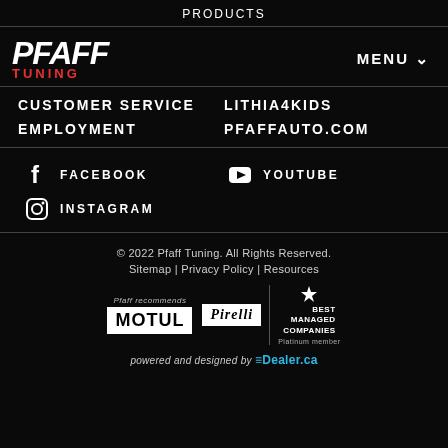PRODUCTS
[Figure (logo): Pfaff Tuning logo - white bold italic PFAFF with red TUNING below]
MENU
CUSTOMER SERVICE
LITHIA4KIDS
EMPLOYMENT
PFAFFAUTO.COM
f  FACEBOOK
YouTube icon  YOUTUBE
Instagram icon  INSTAGRAM
© 2022 Pfaff Tuning. All Rights Reserved.
Sitemap | Privacy Policy | Resources
[Figure (logo): Motul logo, Pirelli logo, Best Managed Companies badge with Platinum member text]
powered and designed by EDealer.ca